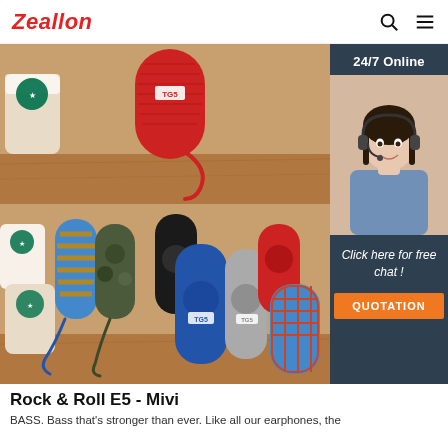Zeallon
[Figure (photo): Red TG5 Bluetooth speaker on wooden surface next to a Starbucks coffee cup]
[Figure (photo): Multiple TG5 Bluetooth speakers in various colors and patterns (blue stripes, camouflage, black, blue, gray, red, patterned) grouped on a wooden surface next to Starbucks coffee cups]
[Figure (photo): Customer service agent woman wearing headset smiling, with 24/7 Online label and Click here for free chat! and QUOTATION button overlay]
Rock & Roll E5 - Mivi
BASS. Bass that's stronger than ever. Like all our earphones, the